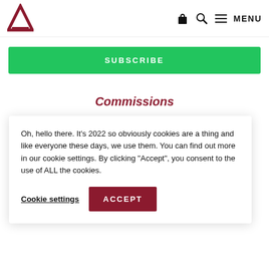Arch logo | bag icon | search icon | menu icon | MENU
SUBSCRIBE
Commissions
Exhibitions
Oh, hello there. It’s 2022 so obviously cookies are a thing and like everyone these days, we use them. You can find out more in our cookie settings. By clicking “Accept”, you consent to the use of ALL the cookies.
Cookie settings
ACCEPT